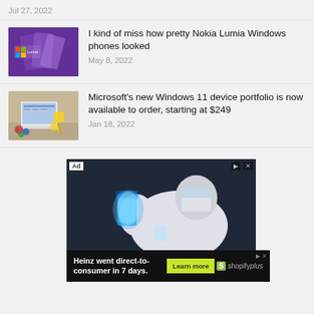Jul 27, 2022
[Figure (photo): Nokia Lumia Windows phone thumbnail with purple background and Lumia logo]
I kind of miss how pretty Nokia Lumia Windows phones looked
May 8, 2022
[Figure (photo): Microsoft Windows 11 device on a desk with calendar and sticky notes]
Microsoft's new Windows 11 device portfolio is now available to order, starting at $249
Jan 18, 2022
[Figure (photo): Advertisement showing a scientist in PPE pouring blue liquid]
[Figure (photo): Shopify Plus ad banner: Heinz went direct-to-consumer in 7 days. Learn more.]